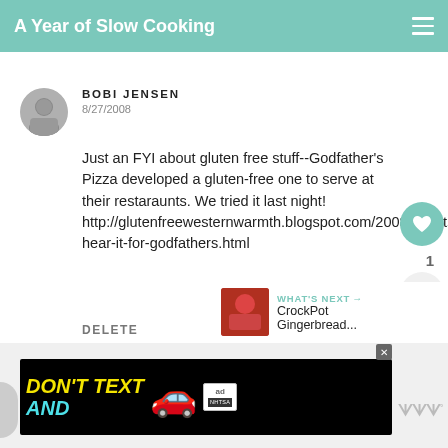A Year of Slow Cooking
BOBI JENSEN
8/27/2008
Just an FYI about gluten free stuff--Godfather's Pizza developed a gluten-free one to serve at their restaraunts. We tried it last night! http://glutenfreewesternwarmth.blogspot.com/2008/08/lets-hear-it-for-godfathers.html
DELETE
WHAT'S NEXT → CrockPot Gingerbread...
[Figure (screenshot): Ad banner: DON'T TEXT AND [car emoji] with ad badge and NHTSA logo on black background]